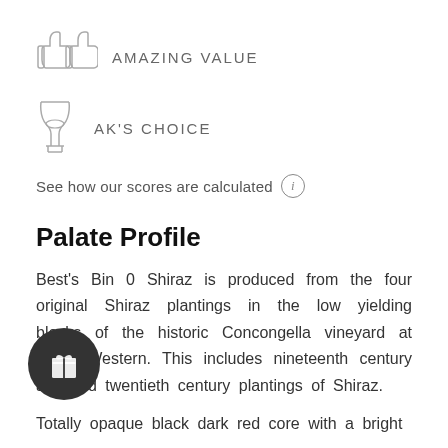[Figure (illustration): Two thumbs-up icons side by side with text AMAZING VALUE]
AMAZING VALUE
[Figure (illustration): Wine glass icon with text AK'S CHOICE]
AK'S CHOICE
See how our scores are calculated ⓘ
Palate Profile
Best's Bin 0 Shiraz is produced from the four original Shiraz plantings in the low yielding blocks of the historic Concongella vineyard at Great Western. This includes nineteenth century and mid twentieth century plantings of Shiraz.
Totally opaque black dark red core with a bright